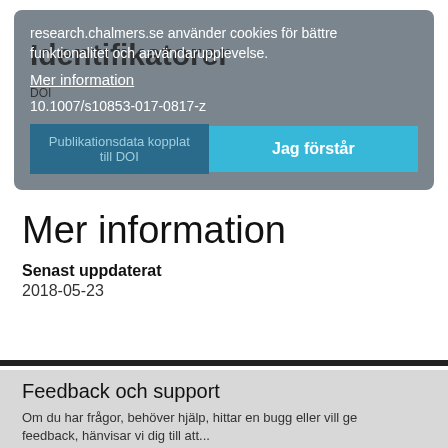[Figure (screenshot): Cookie consent overlay on research.chalmers.se with text about cookies, a 'Mer information' link, a DOI identifier, a 'Publikationsdata kopplat till DOI' button, and a 'Jag förstår' accept button]
Mer information
Senast uppdaterat
2018-05-23
Feedback och support
Om du har frågor, behöver hjälp, hittar en bugg eller vill ge feedback, hänvisar vi dig till att...